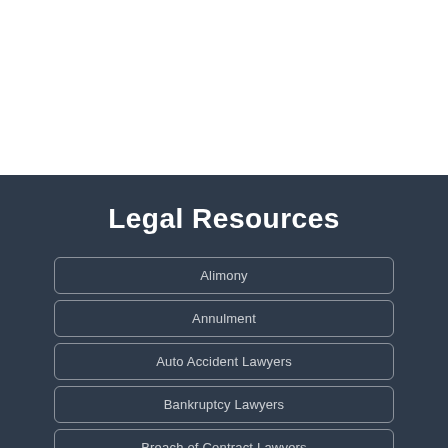Legal Resources
Alimony
Annulment
Auto Accident Lawyers
Bankruptcy Lawyers
Breach of Contract Lawyers
Business Lawyers
Business opportuni…